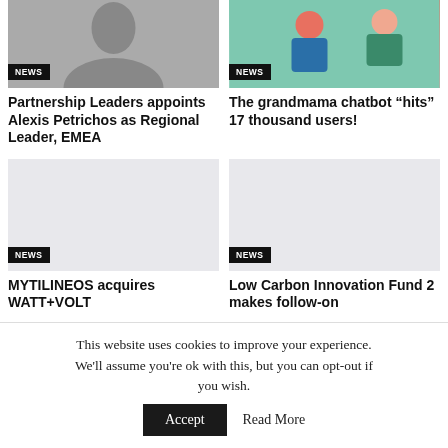[Figure (photo): Black and white photo of a young man]
NEWS
Partnership Leaders appoints Alexis Petrichos as Regional Leader, EMEA
[Figure (illustration): Colorful illustration of people]
NEWS
The grandmama chatbot “hits” 17 thousand users!
[Figure (photo): Gray placeholder image]
NEWS
MYTILINEOS acquires WATT+VOLT
[Figure (photo): Gray placeholder image]
NEWS
Low Carbon Innovation Fund 2 makes follow-on investment in...
This website uses cookies to improve your experience. We'll assume you're ok with this, but you can opt-out if you wish.
Accept
Read More